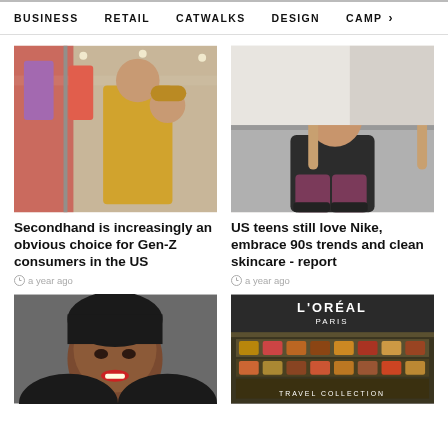BUSINESS   RETAIL   CATWALKS   DESIGN   CAMP >
[Figure (photo): Two women shopping for clothes on a rack, one in yellow long-sleeve top and hat]
Secondhand is increasingly an obvious choice for Gen-Z consumers in the US
a year ago
[Figure (photo): Young woman in beanie hat and dark jacket crouching outdoors]
US teens still love Nike, embrace 90s trends and clean skincare - report
a year ago
[Figure (photo): Portrait of a Black woman with short hair and red lipstick against grey background]
[Figure (photo): L'Oreal Paris Travel Collection cosmetics display case]